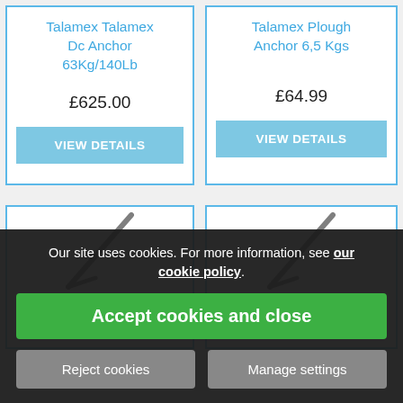Talamex Talamex Dc Anchor 63Kg/140Lb
£625.00
VIEW DETAILS
Talamex Plough Anchor 6,5 Kgs
£64.99
VIEW DETAILS
[Figure (photo): Partial product image of anchor (Talamex Plough Anchor 6,6 Kgs)]
Talamex Plough Anchor 6,6 Kgs
[Figure (photo): Partial product image of anchor (Talamex Plough Anchor 15,5 Kgs)]
Talamex Plough Anchor 15,5 Kgs
Our site uses cookies. For more information, see our cookie policy.
Accept cookies and close
Reject cookies
Manage settings